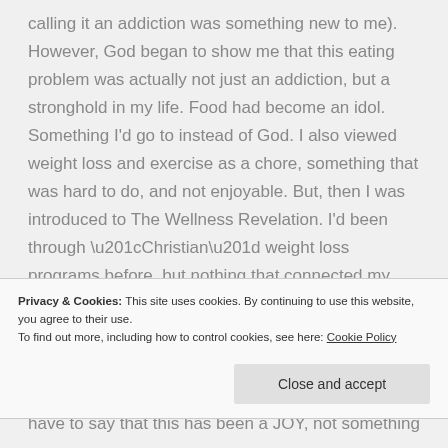calling it an addiction was something new to me). However, God began to show me that this eating problem was actually not just an addiction, but a stronghold in my life. Food had become an idol. Something I'd go to instead of God. I also viewed weight loss and exercise as a chore, something that was hard to do, and not enjoyable. But, then I was introduced to The Wellness Revelation. I'd been through “Christian” weight loss programs before, but nothing that connected my heart, mind, and spirit
Privacy & Cookies: This site uses cookies. By continuing to use this website, you agree to their use.
To find out more, including how to control cookies, see here: Cookie Policy
Close and accept
have to say that this has been a JOY, not something